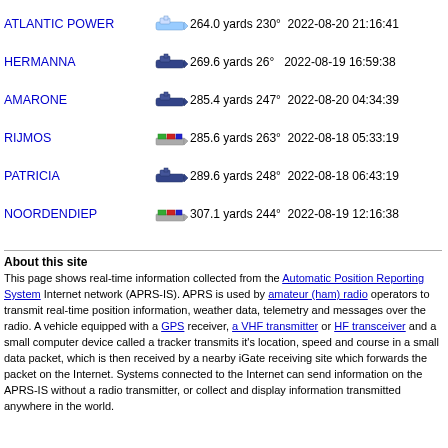ATLANTIC POWER  264.0 yards 230° 2022-08-20 21:16:41
HERMANNA  269.6 yards 26°  2022-08-19 16:59:38
AMARONE  285.4 yards 247° 2022-08-20 04:34:39
RIJMOS  285.6 yards 263° 2022-08-18 05:33:19
PATRICIA  289.6 yards 248° 2022-08-18 06:43:19
NOORDENDIEP  307.1 yards 244° 2022-08-19 12:16:38
About this site
This page shows real-time information collected from the Automatic Position Reporting System Internet network (APRS-IS). APRS is used by amateur (ham) radio operators to transmit real-time position information, weather data, telemetry and messages over the radio. A vehicle equipped with a GPS receiver, a VHF transmitter or HF transceiver and a small computer device called a tracker transmits it's location, speed and course in a small data packet, which is then received by a nearby iGate receiving site which forwards the packet on the Internet. Systems connected to the Internet can send information on the APRS-IS without a radio transmitter, or collect and display information transmitted anywhere in the world.